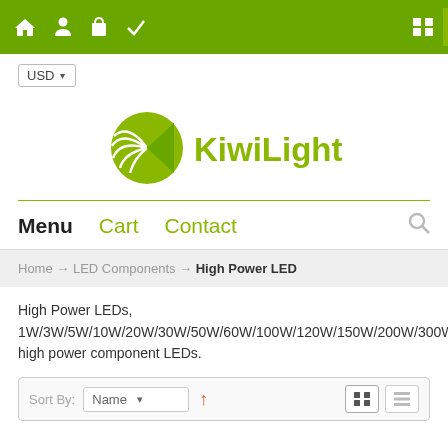[Figure (screenshot): Green navigation bar with home, user, bag, and checkmark icons on left, and grid/menu icon on the right]
USD ▾
[Figure (logo): KiwiLighting logo with green kiwi bird circle and green text 'KiwiLighting']
Menu  Cart  Contact
Home → LED Components → High Power LED
High Power LEDs, 1W/3W/5W/10W/20W/30W/50W/60W/100W/120W/150W/200W/300W/500W high power component LEDs.
Sort By: Name ▾ ↑